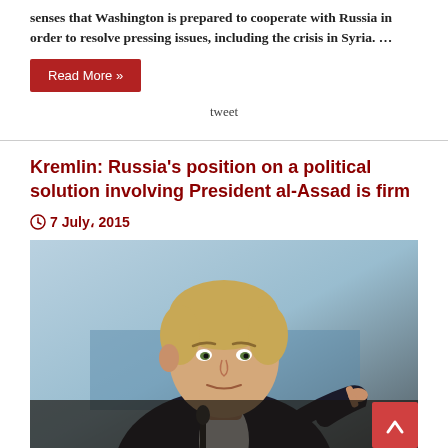senses that Washington is prepared to cooperate with Russia in order to resolve pressing issues, including the crisis in Syria. …
Read More »
tweet
Kremlin: Russia's position on a political solution involving President al-Assad is firm
7 July، 2015
[Figure (photo): A middle-aged blonde man in a dark suit gesturing with his finger, seated at what appears to be a press conference with microphones visible]